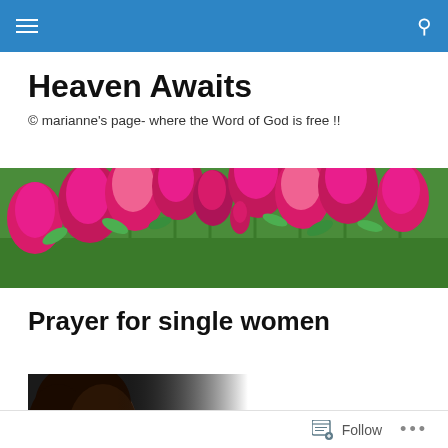Navigation bar with menu and search icons
Heaven Awaits
© marianne's page- where the Word of God is free !!
[Figure (photo): Banner photograph of bright pink/magenta tulips in a garden with green stems and grass background]
Prayer for single women
[Figure (photo): Partial portrait photo of a woman with dark curly hair, fading to white/grey on the right side]
Follow  •••